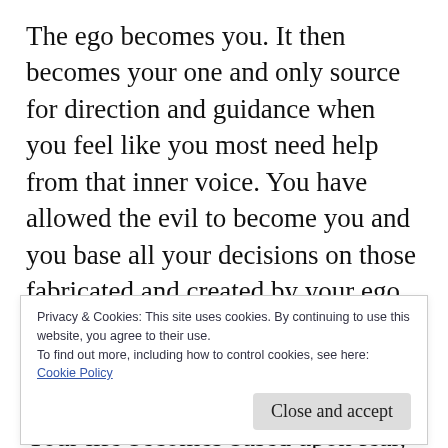The ego becomes you. It then becomes your one and only source for direction and guidance when you feel like you most need help from that inner voice. You have allowed the evil to become you and you base all your decisions on those fabricated and created by your ego. You are basically under control and have no power to make real, honest, caring and compassionate decisions. Your life becomes based upon fear, anger, anxiety, victimisation, [cut off] wanted or desired was the loving attention
Privacy & Cookies: This site uses cookies. By continuing to use this website, you agree to their use.
To find out more, including how to control cookies, see here: Cookie Policy
Close and accept